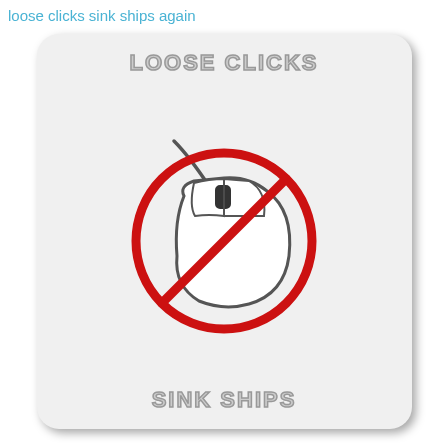loose clicks sink ships again
[Figure (illustration): A mouse pad with a 'no mouse' prohibition sign (red circle with diagonal line through a computer mouse illustration), with text 'LOOSE CLICKS' at the top and 'SINK SHIPS' at the bottom in outlined block lettering.]